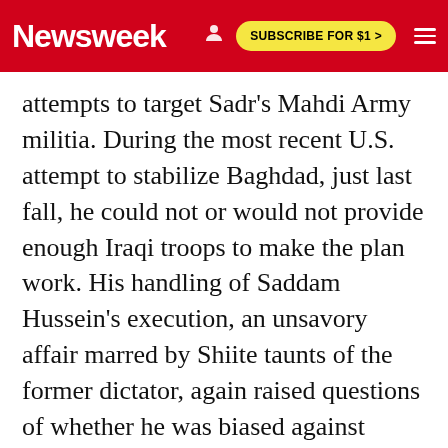Newsweek | SUBSCRIBE FOR $1 >
attempts to target Sadr's Mahdi Army militia. During the most recent U.S. attempt to stabilize Baghdad, just last fall, he could not or would not provide enough Iraqi troops to make the plan work. His handling of Saddam Hussein's execution, an unsavory affair marred by Shiite taunts of the former dictator, again raised questions of whether he was biased against Sunnis. "So much of our future in that place is in the hands of Maliki," says one Republican doubter, Sen. George Voinovich of Ohio, who doesn't think the Iraqi prime minister